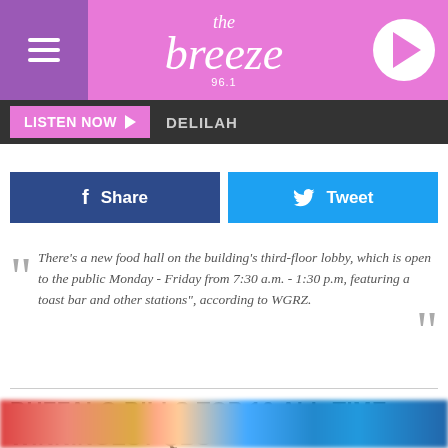the breeze 96.1 — LISTEN NOW DELILAH
Share  Tweet
"There's a new food hall on the building's third-floor lobby, which is open to the public Monday - Friday from 7:30 a.m. - 1:30 p.m, featuring a toast bar and other stations", according to WGRZ.
BUFFALO BILLS TOP 10 ALL-TIME WINNINGEST QBS
[Figure (photo): Blurred photo of Buffalo Bills players in red-blue-yellow colors at the bottom of the page]